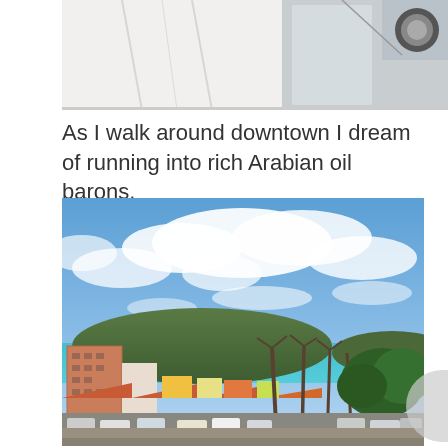[Figure (photo): Partial photo at top of page, appears to show interior scene with glass/curtain, cropped]
As I walk around downtown I dream of running into rich Arabian oil barons.
[Figure (photo): Outdoor photo of a Caribbean coastal town with colorful buildings, palm trees, turquoise ocean/bay, and a partly cloudy blue sky. Mountain in background. Parking lot with cars visible in foreground.]